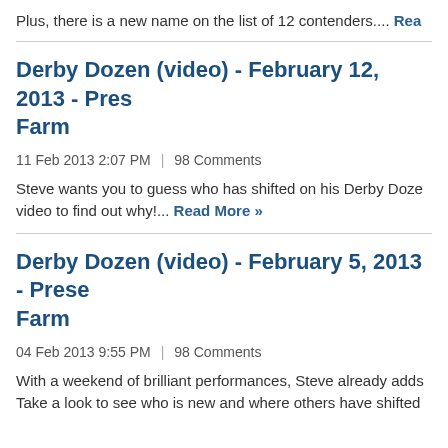Plus, there is a new name on the list of 12 contenders.... Read More »
Derby Dozen (video) - February 12, 2013 - Presss Farm
11 Feb 2013 2:07 PM | 98 Comments
Steve wants you to guess who has shifted on his Derby Dozen video to find out why!... Read More »
Derby Dozen (video) - February 5, 2013 - Prese Farm
04 Feb 2013 9:55 PM | 98 Comments
With a weekend of brilliant performances, Steve already adds Take a look to see who is new and where others have shifted